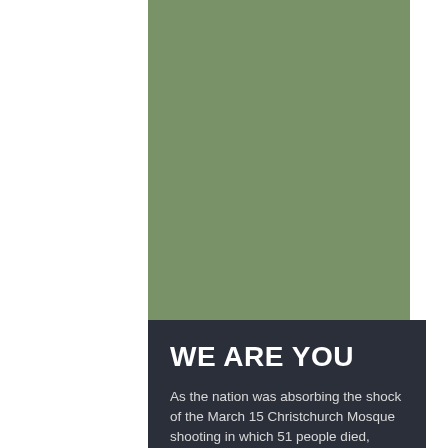[Figure (illustration): Solid sage/olive green rectangular block occupying the right portion of the page from top to near-bottom, serving as a background or cover image area.]
WE ARE YOU
As the nation was absorbing the shock of the March 15 Christchurch Mosque shooting in which 51 people died, horrified by the brutality and blind hate